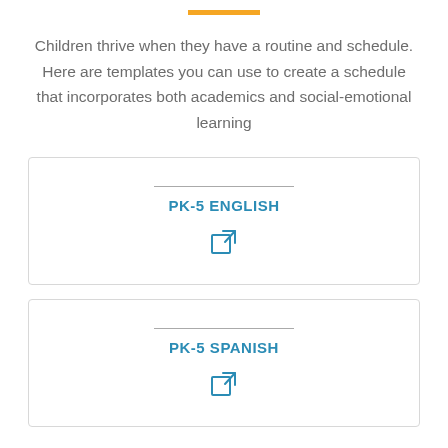Children thrive when they have a routine and schedule. Here are templates you can use to create a schedule that incorporates both academics and social-emotional learning
PK-5 ENGLISH
PK-5 SPANISH